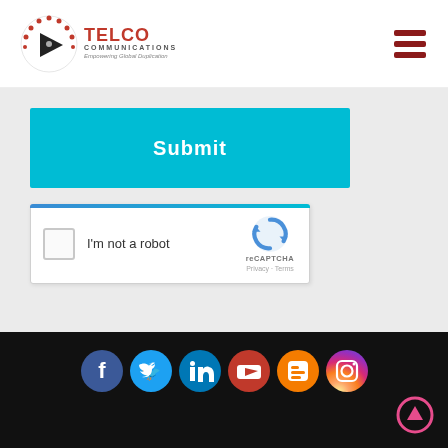Telco Communications — Empowering Global Duplication
[Figure (screenshot): Submit button (sky blue) with white bold text 'Submit']
[Figure (screenshot): reCAPTCHA widget with checkbox, 'I'm not a robot' label, and reCAPTCHA logo]
[Figure (screenshot): Social media icons row: Facebook, Twitter, LinkedIn, YouTube, Blogger, Instagram. Plus a scroll-up arrow button at bottom right.]